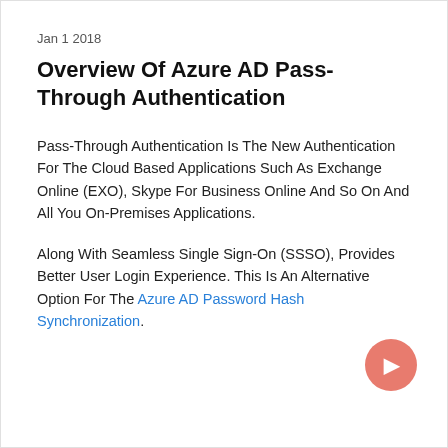Jan 1 2018
Overview Of Azure AD Pass-Through Authentication
Pass-Through Authentication Is The New Authentication For The Cloud Based Applications Such As Exchange Online (EXO), Skype For Business Online And So On And All You On-Premises Applications.
Along With Seamless Single Sign-On (SSSO), Provides Better User Login Experience. This Is An Alternative Option For The Azure AD Password Hash Synchronization.